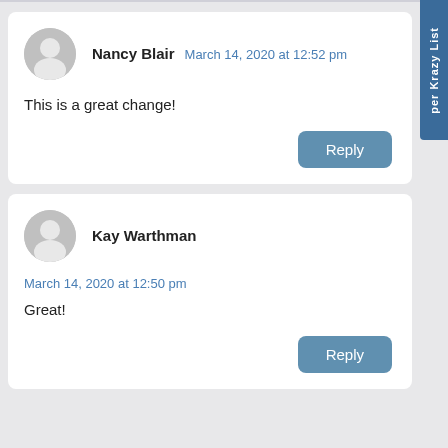Nancy Blair — March 14, 2020 at 12:52 pm
This is a great change!
Reply
Kay Warthman
March 14, 2020 at 12:50 pm
Great!
Reply